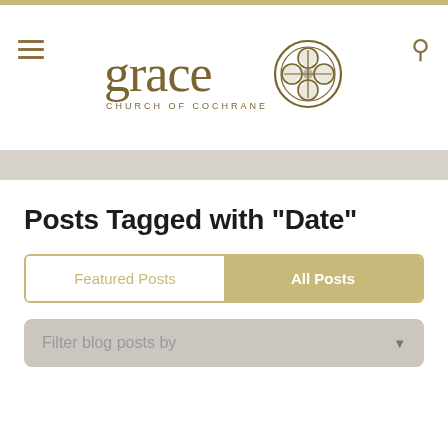[Figure (logo): Grace Church of Cochrane logo with stylized 'grace' text and a circular cross/quatrefoil emblem in gold/olive color]
Posts Tagged with "Date"
Featured Posts
All Posts
Filter blog posts by